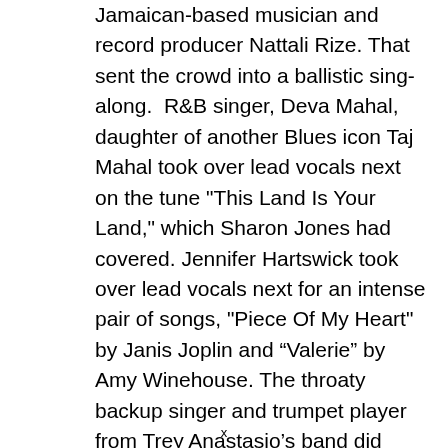Jamaican-based musician and record producer Nattali Rize. That sent the crowd into a ballistic sing-along.  R&B singer, Deva Mahal, daughter of another Blues icon Taj Mahal took over lead vocals next on the tune "This Land Is Your Land," which Sharon Jones had covered. Jennifer Hartswick took over lead vocals next for an intense pair of songs, "Piece Of My Heart" by Janis Joplin and “Valerie” by Amy Winehouse. The throaty backup singer and trumpet player from Trey Anastasio’s band did justice to both. Then
x